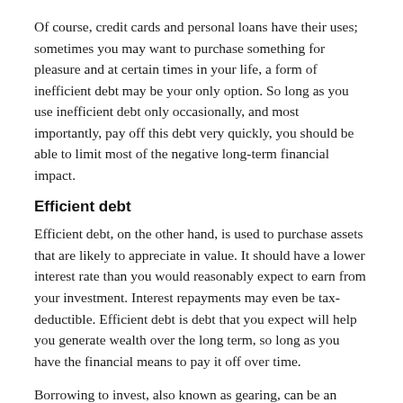Of course, credit cards and personal loans have their uses; sometimes you may want to purchase something for pleasure and at certain times in your life, a form of inefficient debt may be your only option. So long as you use inefficient debt only occasionally, and most importantly, pay off this debt very quickly, you should be able to limit most of the negative long-term financial impact.
Efficient debt
Efficient debt, on the other hand, is used to purchase assets that are likely to appreciate in value. It should have a lower interest rate than you would reasonably expect to earn from your investment. Interest repayments may even be tax-deductible. Efficient debt is debt that you expect will help you generate wealth over the long term, so long as you have the financial means to pay it off over time.
Borrowing to invest, also known as gearing, can be an effective strategy to build wealth more quickly as it allows you to purchase more investments than you may